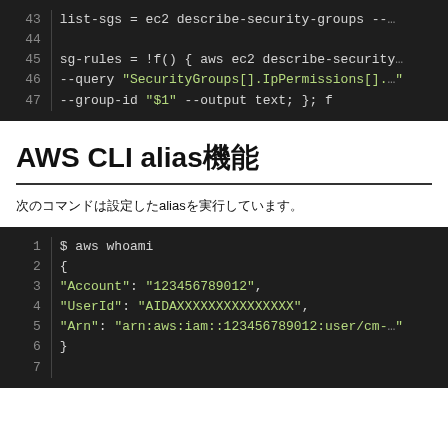[Figure (screenshot): Code block showing lines 43-47 of a shell script with list-sgs and sg-rules variable assignments using aws ec2 describe-security-groups commands]
AWS CLI alias機能
次のコマンドは設定したaliasを実行しています。
[Figure (screenshot): Code block showing lines 1-6 of aws whoami command output with Account, UserId, and Arn fields]